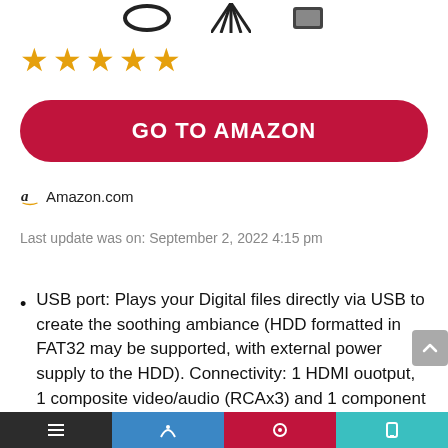[Figure (illustration): Partial product images at top of page (cables/adapters shown cropped)]
[Figure (other): Five gold star rating icons]
[Figure (other): GO TO AMAZON button (red pill-shaped button)]
Amazon.com
Last update was on: September 2, 2022 4:15 pm
USB port: Plays your Digital files directly via USB to create the soothing ambiance (HDD formatted in FAT32 may be supported, with external power supply to the HDD). Connectivity: 1 HDMI ouotput, 1 composite video/audio (RCAx3) and 1 component video (RCAx3). NOTE: HDD
[Figure (other): Bottom navigation bar with icons on dark/blue/red/teal segments]